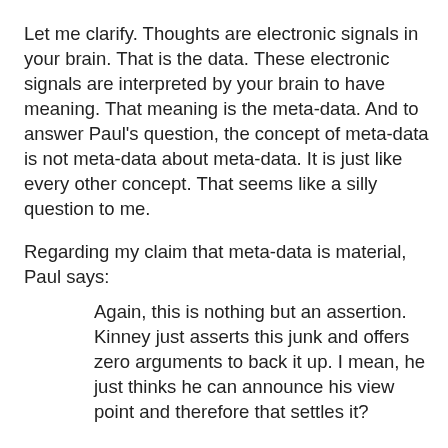Let me clarify. Thoughts are electronic signals in your brain. That is the data. These electronic signals are interpreted by your brain to have meaning. That meaning is the meta-data. And to answer Paul's question, the concept of meta-data is not meta-data about meta-data. It is just like every other concept. That seems like a silly question to me.
Regarding my claim that meta-data is material, Paul says:
Again, this is nothing but an assertion. Kinney just asserts this junk and offers zero arguments to back it up. I mean, he just thinks he can announce his view point and therefore that settles it?
Did Paul forget the part where I used a sound wave analogy? Or when I used a computer software analogy? Does Paul want to argue that a sound wave and a software